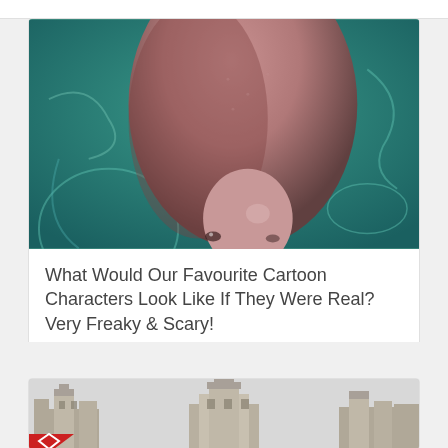[Figure (photo): Close-up realistic 3D render of a cartoon character (Patrick Star from SpongeBob) with an oversized pointed bald head, pink skin with pores visible, set against a teal/green underwater background with bubbles and circular outlines.]
What Would Our Favourite Cartoon Characters Look Like If They Were Real? Very Freaky & Scary!
[Figure (photo): Photograph of large ornate buildings that appear to be grand institutional or palace-like structures, with a red diagonal stripe visible at the bottom left.]